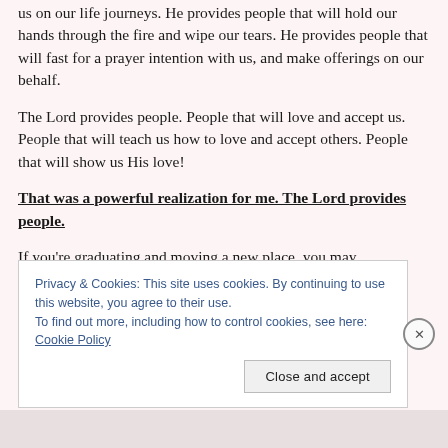us on our life journeys. He provides people that will hold our hands through the fire and wipe our tears. He provides people that will fast for a prayer intention with us, and make offerings on our behalf.
The Lord provides people. People that will love and accept us. People that will teach us how to love and accept others. People that will show us His love!
That was a powerful realization for me. The Lord provides people.
If you're graduating and moving a new place, you may f... I...
Privacy & Cookies: This site uses cookies. By continuing to use this website, you agree to their use. To find out more, including how to control cookies, see here: Cookie Policy
Close and accept